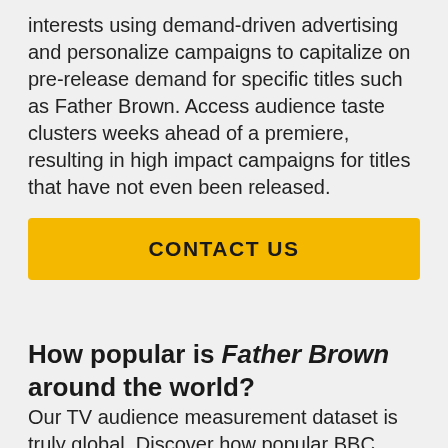interests using demand-driven advertising and personalize campaigns to capitalize on pre-release demand for specific titles such as Father Brown. Access audience taste clusters weeks ahead of a premiere, resulting in high impact campaigns for titles that have not even been released.
CONTACT US
How popular is Father Brown around the world?
Our TV audience measurement dataset is truly global. Discover how popular BBC One's Father